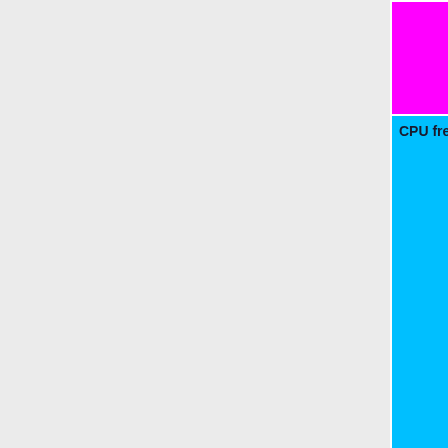| Feature | Status |
| --- | --- |
|  | Untested=yel | N/A=lightgra yellow }}" | N/A |
| CPU frequency scaling | OK=lime | TODO=red | No=red | WIP=orange | Untested=yel | N/A=lightgra yellow }}" | Untested |
| Other powersaving features | OK=lime | TODO=red | No=red | WIP=orange | Untested=yel | N/A=lightgra yellow }}" | N/A |
| ACPI | OK=lime | TODO=red | No=red | WIP=orange | Untested=yel | N/A=lightgra |